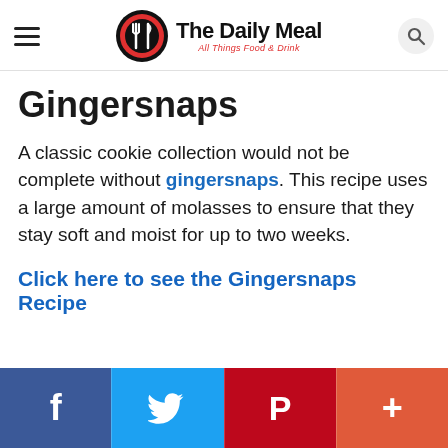The Daily Meal — All Things Food & Drink
Gingersnaps
A classic cookie collection would not be complete without gingersnaps. This recipe uses a large amount of molasses to ensure that they stay soft and moist for up to two weeks.
Click here to see the Gingersnaps Recipe
Social share bar: Facebook, Twitter, Pinterest, More